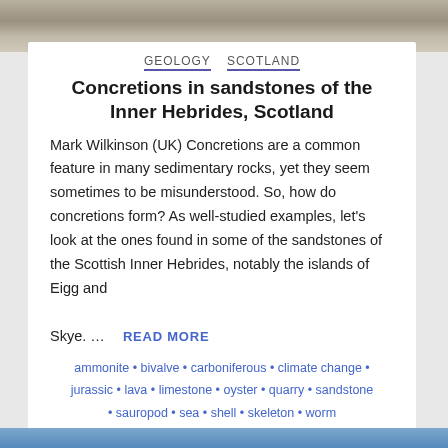[Figure (photo): Top banner showing rock/stone texture in grey and brown tones]
GEOLOGY   SCOTLAND
Concretions in sandstones of the Inner Hebrides, Scotland
Mark Wilkinson (UK) Concretions are a common feature in many sedimentary rocks, yet they seem sometimes to be misunderstood. So, how do concretions form? As well-studied examples, let’s look at the ones found in some of the sandstones of the Scottish Inner Hebrides, notably the islands of Eigg and Skye. …   READ MORE
ammonite • bivalve • carboniferous • climate change • jurassic • lava • limestone • oyster • quarry • sandstone • sauropod • sea • shell • skeleton • worm
[Figure (photo): Bottom strip showing blue/teal water or sky]